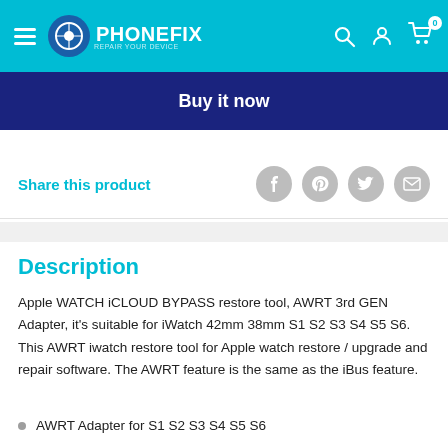PHONEFIX
Buy it now
Share this product
Description
Apple WATCH iCLOUD BYPASS restore tool, AWRT 3rd GEN Adapter, it's suitable for iWatch 42mm 38mm S1 S2 S3 S4 S5 S6. This AWRT iwatch restore tool for Apple watch restore / upgrade and repair software. The AWRT feature is the same as the iBus feature.
AWRT Adapter for S1 S2 S3 S4 S5 S6